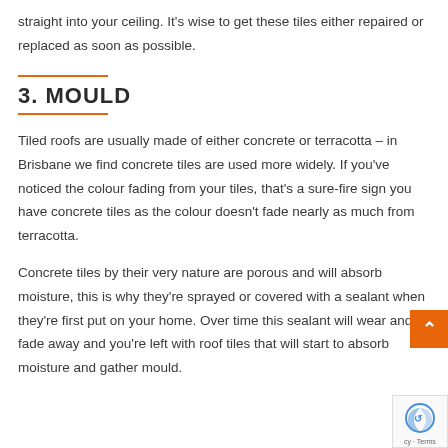straight into your ceiling. It's wise to get these tiles either repaired or replaced as soon as possible.
3. MOULD
Tiled roofs are usually made of either concrete or terracotta – in Brisbane we find concrete tiles are used more widely. If you've noticed the colour fading from your tiles, that's a sure-fire sign you have concrete tiles as the colour doesn't fade nearly as much from terracotta.
Concrete tiles by their very nature are porous and will absorb moisture, this is why they're sprayed or covered with a sealant when they're first put on your home. Over time this sealant will wear and fade away and you're left with roof tiles that will start to absorb moisture and gather mould.